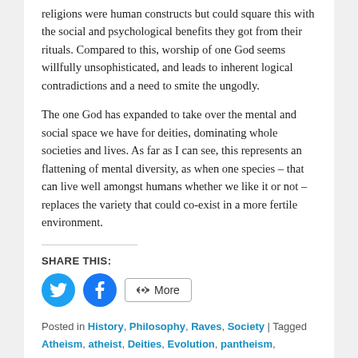religions were human constructs but could square this with the social and psychological benefits they got from their rituals. Compared to this, worship of one God seems willfully unsophisticated, and leads to inherent logical contradictions and a need to smite the ungodly.
The one God has expanded to take over the mental and social space we have for deities, dominating whole societies and lives. As far as I can see, this represents an flattening of mental diversity, as when one species – that can live well amongst humans whether we like it or not – replaces the variety that could co-exist in a more fertile environment.
SHARE THIS:
[Figure (infographic): Social share buttons: Twitter (blue circle), Facebook (blue circle), More (outlined button with share icon)]
Posted in History, Philosophy, Raves, Society | Tagged Atheism, atheist, Deities, Evolution, pantheism, Religion, Religious-Beliefs